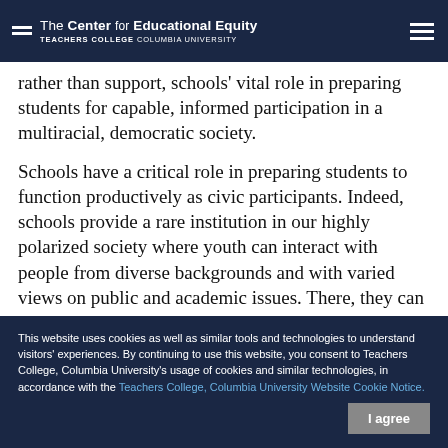The Center for Educational Equity — Teachers College Columbia University
rather than support, schools' vital role in preparing students for capable, informed participation in a multiracial, democratic society.
Schools have a critical role in preparing students to function productively as civic participants. Indeed, schools provide a rare institution in our highly polarized society where youth can interact with people from diverse backgrounds and with varied views on public and academic issues. There, they can engage with multiple perspectives in a setting that encourages shared experiences, collaborative learning, the participatory experiences, and values necessary for building and maintaining a democratic community. These
This website uses cookies as well as similar tools and technologies to understand visitors' experiences. By continuing to use this website, you consent to Teachers College, Columbia University's usage of cookies and similar technologies, in accordance with the Teachers College, Columbia University Website Cookie Notice.